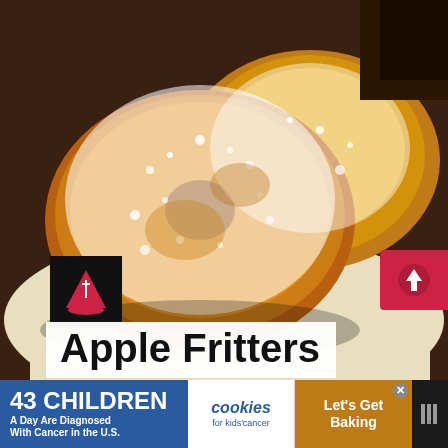[Figure (photo): Close-up photo of apple fritters dusted with powdered sugar sitting on crinkled parchment paper]
Apple Fritters
Apple Fritters. Yum! Slices of apple in a light batter then coated in cinnamon sugar. Served warm with a drizzle of syrup, honey or
[Figure (other): WHAT'S NEXT arrow banner with thumbnail of Lemon Impossible Pie]
[Figure (advertisement): Advertisement: 43 Children A Day Are Diagnosed With Cancer in the U.S. / cookies for kids cancer / Let's Get Baking]